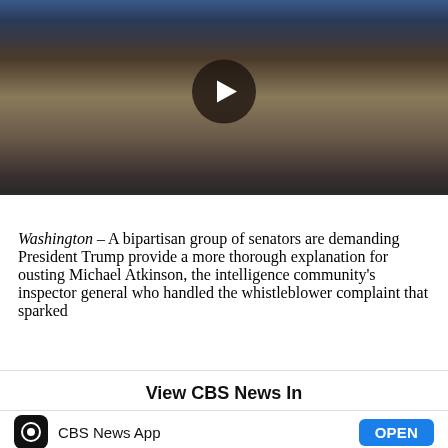[Figure (photo): Photo of a man in a dark suit with a blue striped tie, with a play button overlay indicating a video. American flag visible in background.]
Washington – A bipartisan group of senators are demanding President Trump provide a more thorough explanation for ousting Michael Atkinson, the intelligence community's inspector general who handled the whistleblower complaint that sparked
View CBS News In
CBS News App
OPEN